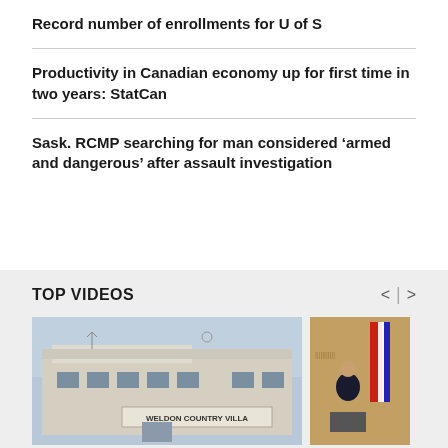Record number of enrollments for U of S
Productivity in Canadian economy up for first time in two years: StatCan
Sask. RCMP searching for man considered ‘armed and dangerous’ after assault investigation
TOP VIDEOS
[Figure (photo): Photo of Weldon Country Villa building exterior]
[Figure (photo): Photo of a person at a press conference with flags in background]